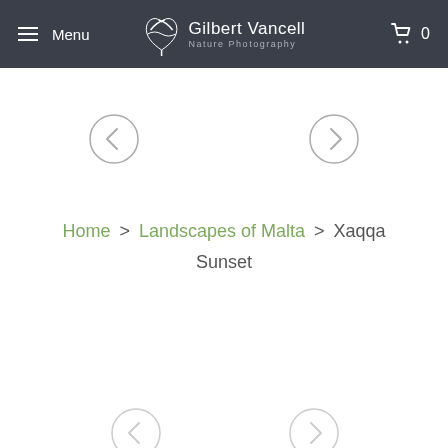Menu | Gilbert Vancell Nature Photography | 0
[Figure (other): Left navigation arrow circle button]
[Figure (other): Right navigation arrow circle button]
Home > Landscapes of Malta > Xaqqa Sunset
[Figure (other): Left navigation arrow circle button (bottom, partially visible)]
[Figure (other): Right navigation arrow circle button (bottom, partially visible)]